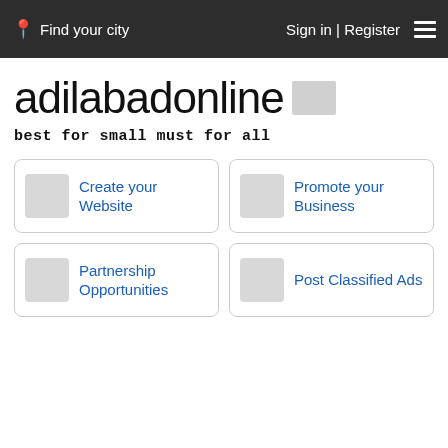Find your city | Sign in | Register
adilabad online
best for small must for all
Create your Website
Promote your Business
Partnership Opportunities
Post Classified Ads